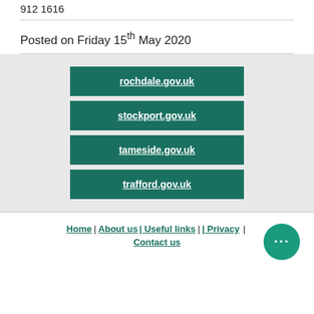912 1616
Posted on Friday 15th May 2020
rochdale.gov.uk
stockport.gov.uk
tameside.gov.uk
trafford.gov.uk
Home | About us | Useful links | | Privacy | Contact us